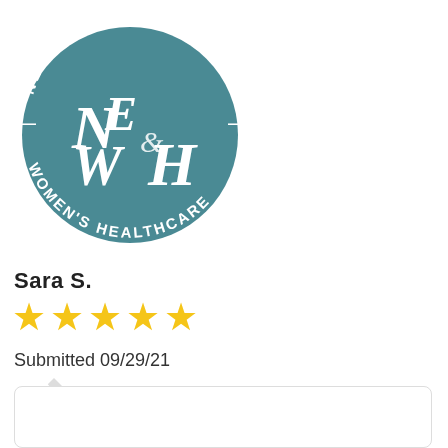[Figure (logo): New England Women's Healthcare circular logo in teal/dark cyan color with stylized 'NEWH' monogram in the center and text 'NEW ENGLAND' arced across the top and 'WOMEN'S HEALTHCARE' arced across the bottom]
Sara S.
[Figure (other): Five yellow/gold star rating icons]
Submitted 09/29/21
Everyone is very nice at the office!